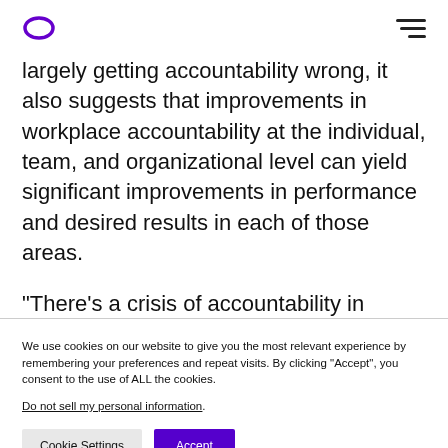[Logo] [Hamburger menu]
largely getting accountability wrong, it also suggests that improvements in workplace accountability at the individual, team, and organizational level can yield significant improvements in performance and desired results in each of those areas.
“There’s a crisis of accountability in organizations
We use cookies on our website to give you the most relevant experience by remembering your preferences and repeat visits. By clicking “Accept”, you consent to the use of ALL the cookies. Do not sell my personal information.
Cookie Settings  Accept